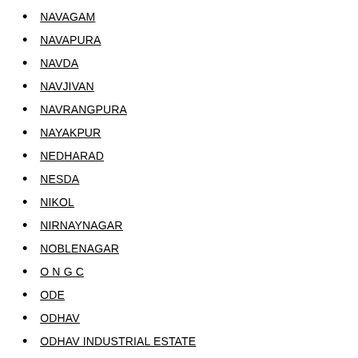NAVAGAM
NAVAPURA
NAVDA
NAVJIVAN
NAVRANGPURA
NAYAKPUR
NEDHARAD
NESDA
NIKOL
NIRNAYNAGAR
NOBLENAGAR
O N G C
ODE
ODHAV
ODHAV INDUSTRIAL ESTATE